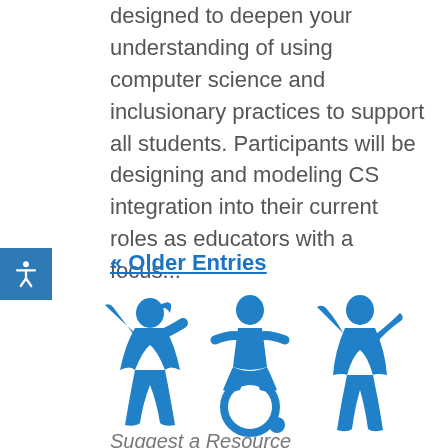designed to deepen your understanding of using computer science and inclusionary practices to support all students. Participants will be designing and modeling CS integration into their current roles as educators with a focus...
« Older Entries
[Figure (illustration): Three blue stylized human figures: a child with pigtails on the left, a person in a wheelchair in the center, and a standing person on the right — representing inclusionary practices.]
Suggest a Resource